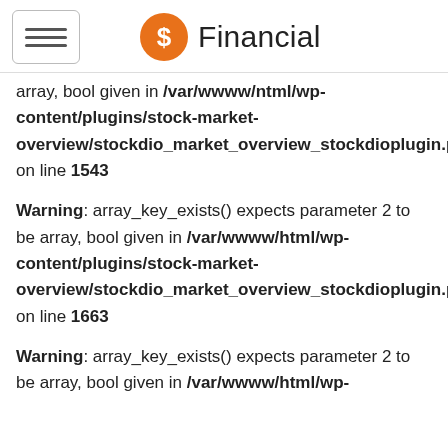Financial
array, bool given in /var/wwww/ntml/wp-content/plugins/stock-market-overview/stockdio_market_overview_stockdioplugin.php on line 1543
Warning: array_key_exists() expects parameter 2 to be array, bool given in /var/wwww/html/wp-content/plugins/stock-market-overview/stockdio_market_overview_stockdioplugin.php on line 1663
Warning: array_key_exists() expects parameter 2 to be array, bool given in /var/wwww/html/wp-